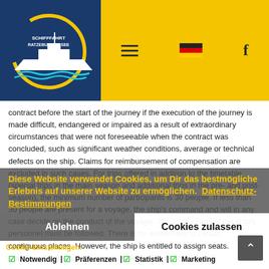[Figure (logo): Schifffahrt Ratzeburger See logo with white ferry boat over blue waves on dark blue background]
[Figure (infographic): Yellow navigation bar with hamburger menu, German flag icon, and Facebook icon]
contract before the start of the journey if the execution of the journey is made difficult, endangered or impaired as a result of extraordinary circumstances that were not foreseeable when the contract was concluded, such as significant weather conditions, average or technical defects on the ship. Claims for reimbursement of compensation are excluded in such cases. For trips offered in addition to the timetable (special trips in the main season and additional trips in the pre- and post-season), the minimum number of participants is 30 people. If less than 30 people are present for a voyage, the ship's command and will in any case decide on the conduct of the voyage. The instructions of the ship's personnel must be followed. There is no entitlement to certain contiguous places. However, the ship is entitled to assign seats. Vouchers of all kinds are always valid for the period listed. A
Diese Website verwendet Cookies, um Dir das bestmögliche Erlebnis auf unserer Website zu ermöglichen. Datenschutz-Bestimmungen
Ablehnen
Cookies zulassen
Cookie-Einstellungen:
✅ Notwendig | ✅ Präferenzen | ✅ Statistik |
✅ Marketing